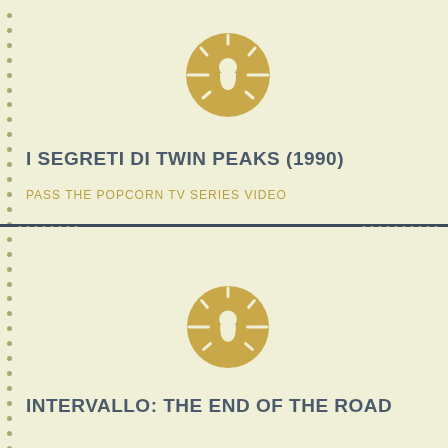[Figure (logo): Circular keyhole icon in golden/tan color on light yellow-green background, top section]
I SEGRETI DI TWIN PEAKS (1990)
PASS THE POPCORN TV SERIES VIDEO
[Figure (logo): Circular keyhole icon in golden/tan color on light yellow-green background, bottom section]
INTERVALLO: THE END OF THE ROAD